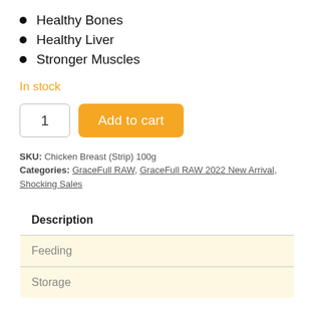Healthy Bones
Healthy Liver
Stronger Muscles
In stock
1  Add to cart
SKU: Chicken Breast (Strip) 100g
Categories: GraceFull RAW, GraceFull RAW 2022 New Arrival, Shocking Sales
| Description |
| --- |
| Feeding |
| Storage |